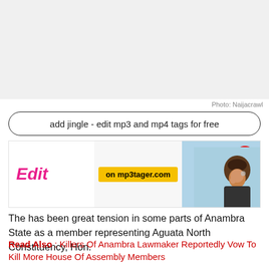[Figure (photo): Light gray placeholder image area at top of page]
Photo: Naijacrawl
add jingle - edit mp3 and mp4 tags for free
[Figure (infographic): Advertisement banner for mp3tager.com showing Edit text in pink, yellow badge saying 'on mp3tager.com', FREE badge, and woman with headphones on blue background]
The has been great tension in some parts of Anambra State as a member representing Aguata North Constituency, Hon.
Read Also : Killers Of Anambra Lawmaker Reportedly Vow To Kill More House Of Assembly Members